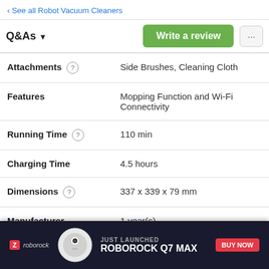‹ See all Robot Vacuum Cleaners
Q&As ▾
| Attribute | Value |
| --- | --- |
| Attachments | Side Brushes, Cleaning Cloth |
| Features | Mopping Function and Wi-Fi Connectivity |
| Running Time | 110 min |
| Charging Time | 4.5 hours |
| Dimensions | 337 x 339 x 79 mm |
| Manufacturer Warranty | 1 year(s) |
[Figure (photo): Roborock Q7 Max advertisement banner with product image (white robot vacuum), roborock logo, text 'JUST LAUNCHED ROBOROCK Q7 MAX' and a red BUY NOW button on dark background]